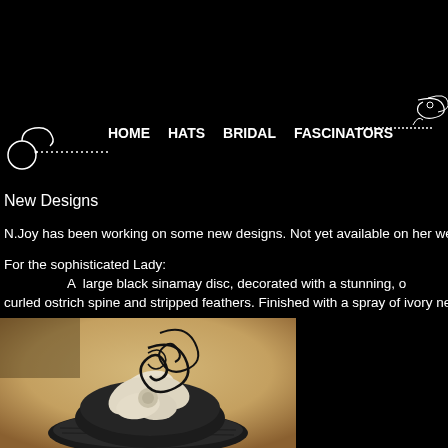HOME   HATS   BRIDAL   FASCINATORS
New Designs
N.Joy has been working on some new designs. Not yet available on her we
For the sophisticated Lady:
          A  large black sinamay disc, decorated with a stunning, o
curled ostrich spine and stripped feathers. Finished with a spray of ivory ne
[Figure (photo): Sepia-toned photograph of a fascinator hat with black wire spirals, ivory/cream feather flower decoration, and a black woven disc base, photographed against a warm beige background.]